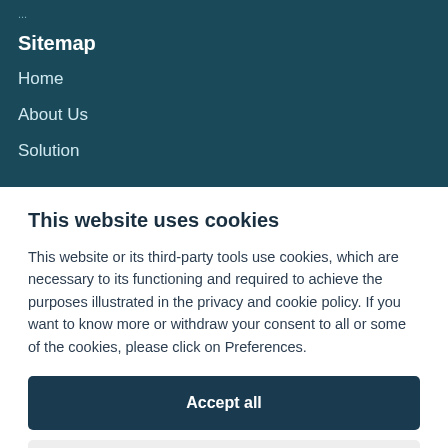...
Sitemap
Home
About Us
Solution
This website uses cookies
This website or its third-party tools use cookies, which are necessary to its functioning and required to achieve the purposes illustrated in the privacy and cookie policy. If you want to know more or withdraw your consent to all or some of the cookies, please click on Preferences.
Accept all
Preferences